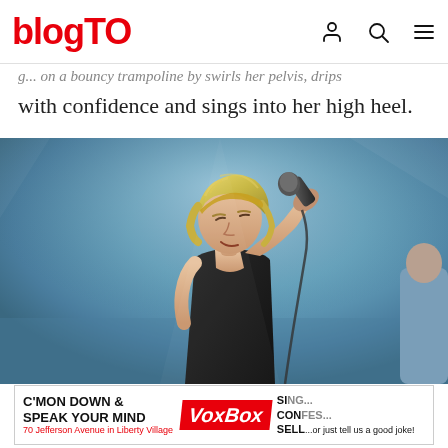blogTO [navigation icons: user, search, menu]
g... on a bouncy trampoline by swirls her pelvis, drips with confidence and sings into her high heel.
[Figure (photo): A blonde female performer on stage, wearing a black sleeveless outfit and a gold headband, singing into a microphone held close to her face. The background is a hazy blue-grey stage atmosphere. Part of another performer is visible at the far right edge.]
[Figure (infographic): Advertisement banner for VoxBox at 70 Jefferson Avenue in Liberty Village. Text reads: C'MON DOWN & SPEAK YOUR MIND | VoxBox | SING... CONFES... | SELL...or just tell us a good joke!]